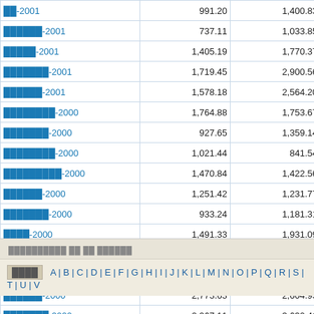| Name | Value1 | Value2 | Diff |
| --- | --- | --- | --- |
| ██-2001 | 991.20 | 1,400.83 | -473 |
| ██████-2001 | 737.11 | 1,033.85 | -296 |
| █████-2001 | 1,405.19 | 1,770.37 | -357 |
| ███████-2001 | 1,719.45 | 2,900.56 | -1,181 |
| ██████-2001 | 1,578.18 | 2,564.20 | -924 |
| ████████-2000 | 1,764.88 | 1,753.67 | 11 |
| ███████-2000 | 927.65 | 1,359.14 | -431 |
| ████████-2000 | 1,021.44 | 841.54 | 179 |
| █████████-2000 | 1,470.84 | 1,422.56 | 243 |
| ██████-2000 | 1,251.42 | 1,231.77 | 19 |
| ███████-2000 | 933.24 | 1,181.31 | -248 |
| ████-2000 | 1,491.33 | 1,931.09 | -439 |
| ██-2000 | 1,489.20 | 1,103.45 | 385 |
| ███████-2000 | 1,375.47 | 1,283.98 | 91 |
| ██████-2000 | 2,773.63 | 2,604.93 | 168 |
| ███████-2000 | 2,967.11 | 3,630.41 | -663 |
| TOTAL | 6,315,032.89 | 5,821,901.88 | 496,039 |
██████████ ██ ██ ██████
████   A | B | C | D | E | F | G | H | I | J | K | L | M | N | O | P | Q | R | S | T | U | V